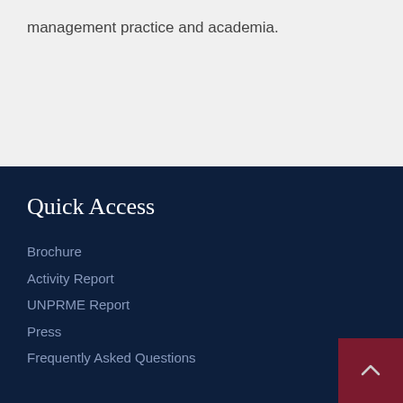management practice and academia.
Quick Access
Brochure
Activity Report
UNPRME Report
Press
Frequently Asked Questions